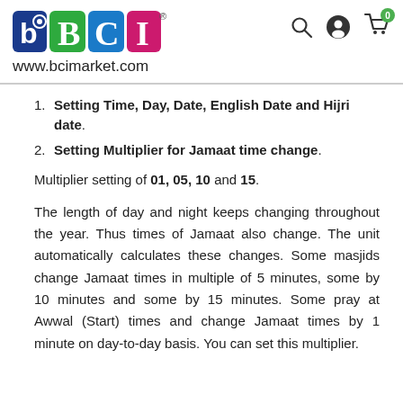[Figure (logo): BCI market logo with small 'b' icon, green B, blue C, pink I letters and registered trademark symbol]
www.bcimarket.com
Setting Time, Day, Date, English Date and Hijri date.
Setting Multiplier for Jamaat time change.
Multiplier setting of 01, 05, 10 and 15.
The length of day and night keeps changing throughout the year. Thus times of Jamaat also change. The unit automatically calculates these changes. Some masjids change Jamaat times in multiple of 5 minutes, some by 10 minutes and some by 15 minutes. Some pray at Awwal (Start) times and change Jamaat times by 1 minute on day-to-day basis. You can set this multiplier.